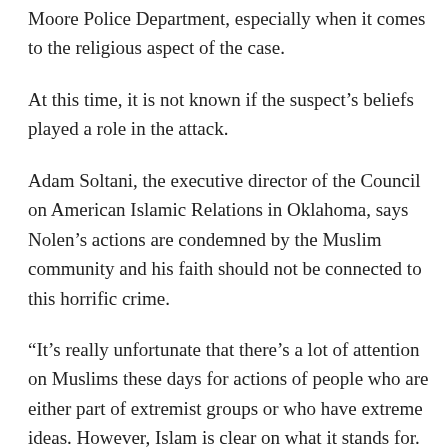Lewis says the FBI is working in conjunction with the Moore Police Department, especially when it comes to the religious aspect of the case.
At this time, it is not known if the suspect’s beliefs played a role in the attack.
Adam Soltani, the executive director of the Council on American Islamic Relations in Oklahoma, says Nolen’s actions are condemned by the Muslim community and his faith should not be connected to this horrific crime.
“It’s really unfortunate that there’s a lot of attention on Muslims these days for actions of people who are either part of extremist groups or who have extreme ideas. However, Islam is clear on what it stands for. Islam stands for peace, Islam stands for justice, Islam stands for love for humanity, compassion and mercy. What this gentleman did